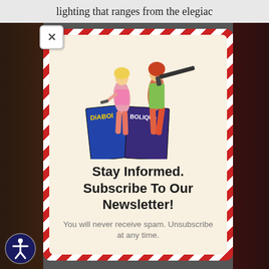lighting that ranges from the elegiac
[Figure (illustration): Two illustrated women holding guns, standing above comic book covers labeled 'Diabol' and 'Bolique']
Stay Informed. Subscribe To Our Newsletter!
You will never receive spam. Unsubscribe at any time.